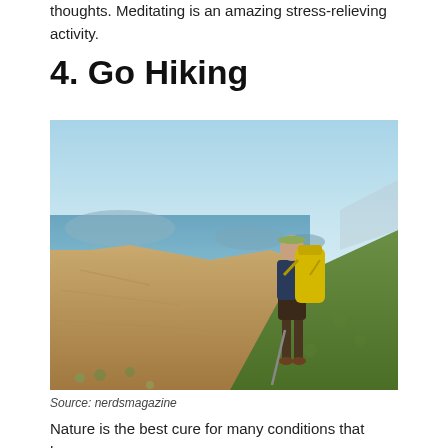thoughts. Meditating is an amazing stress-relieving activity.
4. Go Hiking
[Figure (photo): A hiker with a large yellow backpack and trekking poles stands on a rocky hillside overlooking a coastal landscape with islands visible in the blue sea and sky in the background.]
Source: nerdsmagazine
Nature is the best cure for many conditions that humans